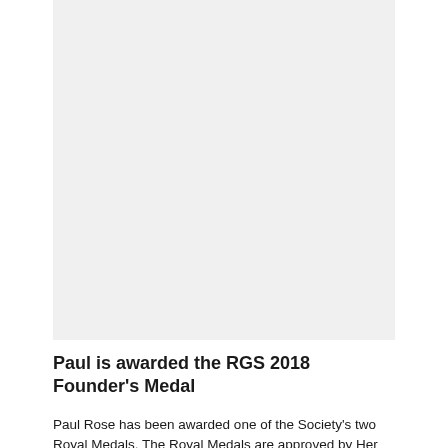[Figure (photo): Large image placeholder area with light grey background, representing a photo related to Paul Rose and the RGS 2018 Founder's Medal]
Paul is awarded the RGS 2018 Founder's Medal
Paul Rose has been awarded one of the Society's two Royal Medals. The Royal Medals are approved by Her